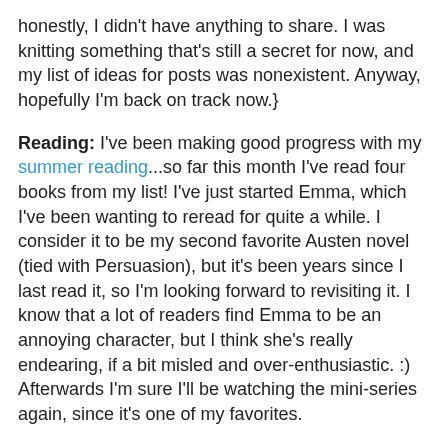honestly, I didn't have anything to share. I was knitting something that's still a secret for now, and my list of ideas for posts was nonexistent. Anyway, hopefully I'm back on track now.}
Reading: I've been making good progress with my summer reading...so far this month I've read four books from my list! I've just started Emma, which I've been wanting to reread for quite a while. I consider it to be my second favorite Austen novel (tied with Persuasion), but it's been years since I last read it, so I'm looking forward to revisiting it. I know that a lot of readers find Emma to be an annoying character, but I think she's really endearing, if a bit misled and over-enthusiastic. :) Afterwards I'm sure I'll be watching the mini-series again, since it's one of my favorites.
Knitting: I'm not sure why I always find myself knitting sweaters during the summer. It's been in the 90s here for the past week, and this is when I decide to cast on a new cardigan. I'm knitting the Antler Cardigan, in a green, tweedy wool. Here's my progress so far...I've not even finished the ribbing for the first sleeve! It makes me smile to think that